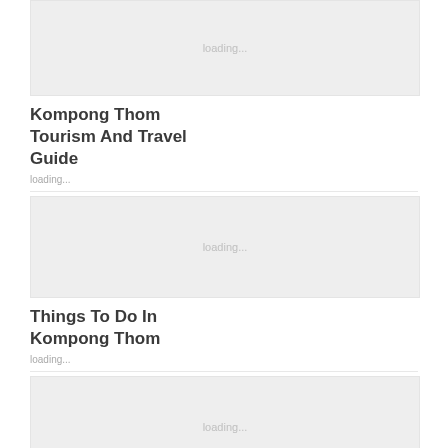[Figure (photo): Loading placeholder image for Kompong Thom Tourism And Travel Guide]
Kompong Thom Tourism And Travel Guide
[Figure (photo): Loading placeholder image for Things To Do In Kompong Thom]
Things To Do In Kompong Thom
[Figure (photo): Loading placeholder image for Kompong Thom Weather And Best Time To Visit Kompong Thom]
Kompong Thom Weather And Best Time To Visit Kompong Thom
[Figure (photo): Loading placeholder image (fourth card)]